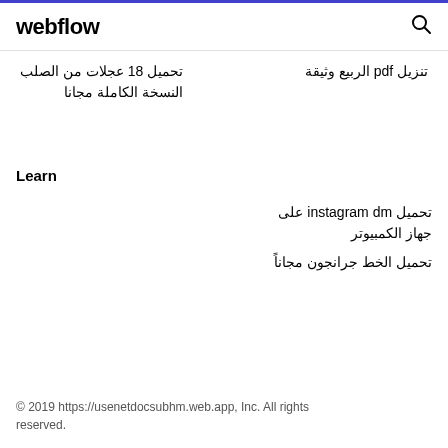webflow
تحميل 18 عجلات من الصلب النسخة الكاملة مجانا
تنزيل pdf الربيع وثيقة
Learn
تحميل instagram dm على جهاز الكمبيوتر
تحميل الخط جرانجون مجاناً
© 2019 https://usenetdocsubhm.web.app, Inc. All rights reserved.